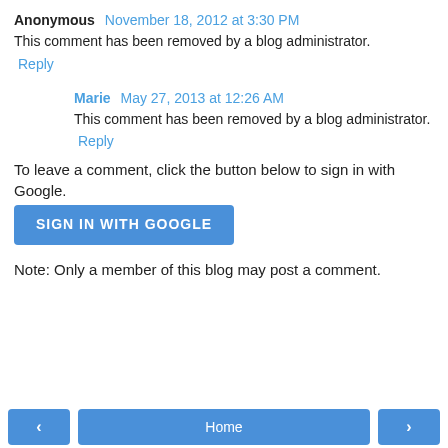Anonymous  November 18, 2012 at 3:30 PM
This comment has been removed by a blog administrator.
Reply
Marie  May 27, 2013 at 12:26 AM
This comment has been removed by a blog administrator.
Reply
To leave a comment, click the button below to sign in with Google.
SIGN IN WITH GOOGLE
Note: Only a member of this blog may post a comment.
‹  Home  ›